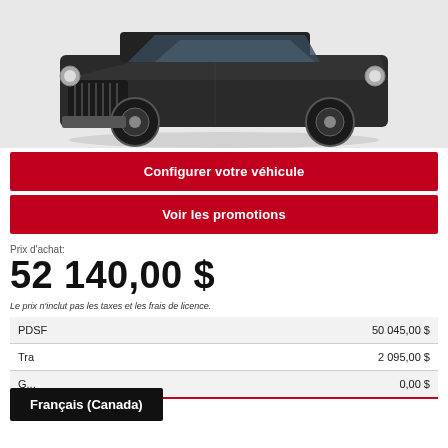[Figure (photo): Dark grey Jeep Wrangler SUV photographed from the front-left angle on a white background]
Configurer votre véhicule
Voir les promotions
Prix d'achat:
52 140,00 $
Le prix n'inclut pas les taxes et les frais de licence.
|  |  |
| --- | --- |
| PDSF | 50 045,00 $ |
| Tra | 2 095,00 $ |
| G... | 0,00 $ |
Français (Canada)